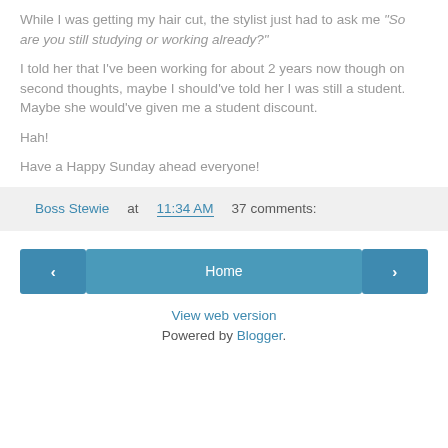While I was getting my hair cut, the stylist just had to ask me "So are you still studying or working already?"
I told her that I've been working for about 2 years now though on second thoughts, maybe I should've told her I was still a student. Maybe she would've given me a student discount.
Hah!
Have a Happy Sunday ahead everyone!
Boss Stewie at 11:34 AM   37 comments:
< Home >  View web version  Powered by Blogger.